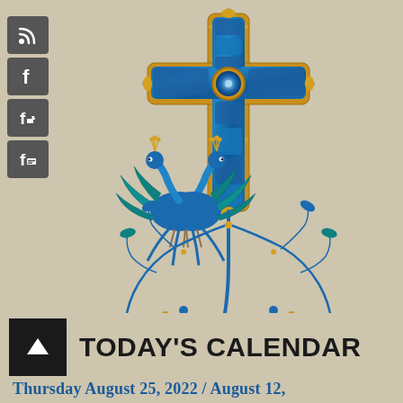[Figure (illustration): Ornate Byzantine/Armenian cross decorated with blue and gold enamel-style patterns, flanked by two blue peacocks amid decorative scrolling vines and foliage, on a parchment-colored background. Four social media icon buttons (RSS, Facebook variants) appear in the top-left sidebar.]
TODAY'S CALENDAR
Thursday August 25, 2022 / August 12,